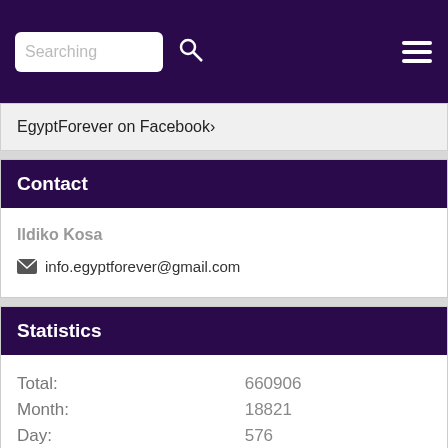Searching
EgyptForever on Facebook>
Contact
Ildiko Kosa
info.egyptforever@gmail.com
Statistics
| Label | Value |
| --- | --- |
| Total: | 660906 |
| Month: | 18821 |
| Day: | 576 |
| Online: | 8 |